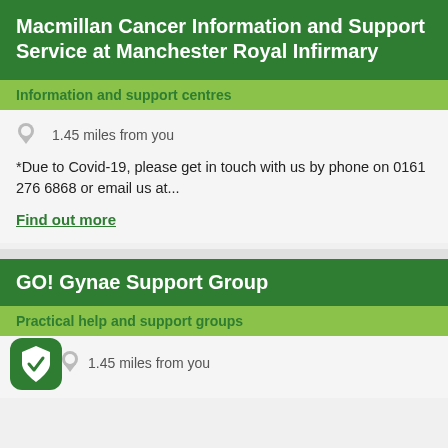Macmillan Cancer Information and Support Service at Manchester Royal Infirmary
Information and support centres
1.45 miles from you
*Due to Covid-19, please get in touch with us by phone on 0161 276 6868 or email us at...
Find out more
GO! Gynae Support Group
Practical help and support groups
1.45 miles from you